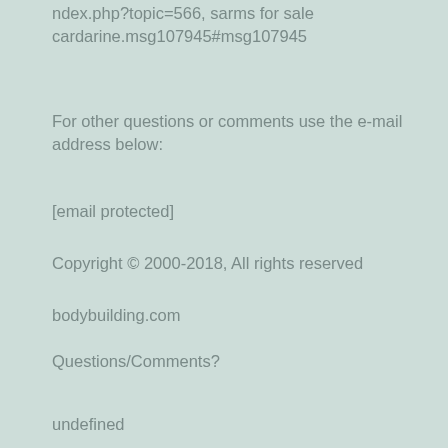ndex.php?topic=566, sarms for sale cardarine.msg107945#msg107945
For other questions or comments use the e-mail address below:
[email protected]
Copyright © 2000-2018, All rights reserved
bodybuilding.com
Questions/Comments?
undefined
Related Article: https://www.omarnutri.com/profile/bulking-80-kg-bulking-meal-plan-for-ski-2808/profile https://www.thevirtualassistantstore.com/profile/best-muscle-building-supplements-for-